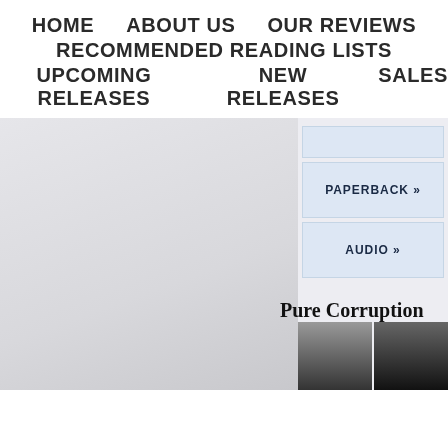HOME   ABOUT US   OUR REVIEWS   RECOMMENDED READING LISTS   UPCOMING RELEASES   NEW RELEASES   SALES
[Figure (screenshot): Book website lower section showing book cover image on left, purchase buttons (PAPERBACK », AUDIO ») in center-right column, and book thumbnails at bottom. Title 'Pure Corruption' visible.]
Pure Corruption